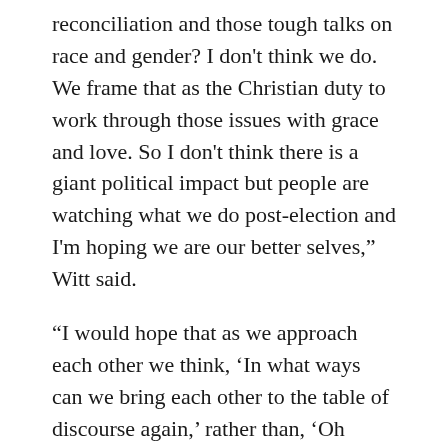reconciliation and those tough talks on race and gender? I don’t think we do. We frame that as the Christian duty to work through those issues with grace and love. So I don’t think there is a giant political impact but people are watching what we do post-election and I’m hoping we are our better selves,” Witt said.
“I would hope that as we approach each other we think, ‘In what ways can we bring each other to the table of discourse again,’ rather than, ‘Oh you’re a Trump supporter and I’m against you.’ We can’t operate in the perception that the person we’re arguing against is totally evil or wrong or irredeemable. We have to argue in a way that we want them to work with us – because we have to